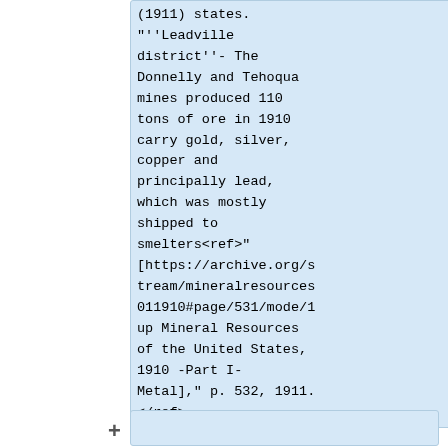(1911) states. "''Leadville district''- The Donnelly and Tehoqua mines produced 110 tons of ore in 1910 carry gold, silver, copper and principally lead, which was mostly shipped to smelters<ref>"[https://archive.org/stream/mineralresources011910#page/531/mode/1up Mineral Resources of the United States, 1910 -Part I-Metal]," p. 532, 1911.</ref>.